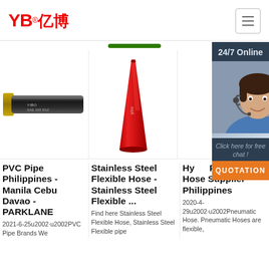[Figure (logo): YB亿博 company logo in red with registered trademark]
[Figure (illustration): Hamburger menu icon button]
[Figure (illustration): Green pill/bar navigation indicator]
[Figure (photo): Photo of black hydraulic hose labeled YIBO SAE 100 R12]
[Figure (photo): Photo of red conical flexible hose]
[Figure (photo): 24/7 Online chat widget with customer service agent photo and QUOTATION button]
PVC Pipe Philippines - Manila Cebu Davao - PARKLANE
2021-6-25u2002·u2002PVC Pipe Brands We
Stainless Steel Flexible Hose - Stainless Steel Flexible ...
Find here Stainless Steel Flexible Hose, Stainless Steel Flexible pipe
Hydraulic Pneumatic Hose Supplier Philippines
2020-4-29u2002·u2002Pneumatic Hose. Pneumatic Hoses are flexible,